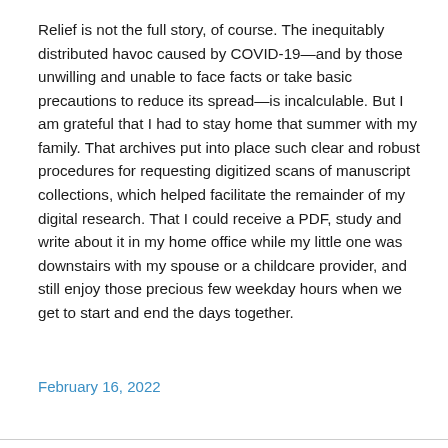Relief is not the full story, of course. The inequitably distributed havoc caused by COVID-19—and by those unwilling and unable to face facts or take basic precautions to reduce its spread—is incalculable. But I am grateful that I had to stay home that summer with my family. That archives put into place such clear and robust procedures for requesting digitized scans of manuscript collections, which helped facilitate the remainder of my digital research. That I could receive a PDF, study and write about it in my home office while my little one was downstairs with my spouse or a childcare provider, and still enjoy those precious few weekday hours when we get to start and end the days together.
February 16, 2022